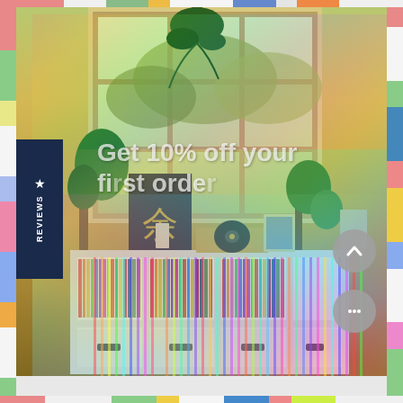[Figure (photo): A cozy indoor room scene with a large multi-pane window letting in bright sunlight. In front of the window is a white shelving unit (IKEA Kallax style) filled with vinyl records in rainbow colors. On top of the shelf are various houseplants, decorative items, a turntable, and a sign with a Japanese/Chinese character. The image has a holographic/rainbow prismatic light overlay effect. On the left side is a dark navy blue vertical tab with a star icon and 'REVIEWS' text. There are UI overlay elements including semi-transparent form fields and scroll/chat buttons on the right side. Overlay text reads 'Get 10% off your first order'.]